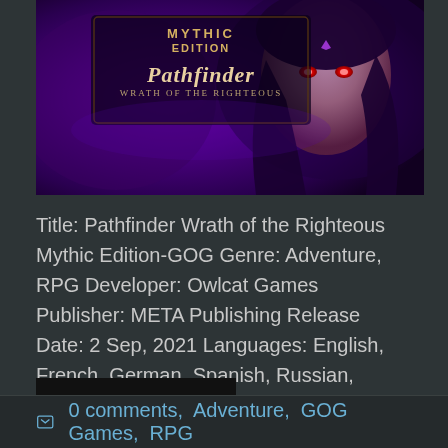[Figure (illustration): Game cover art for Pathfinder: Wrath of the Righteous Mythic Edition showing a dark fantasy female character with glowing red eyes against a purple background, with the game logo prominently displayed.]
Title: Pathfinder Wrath of the Righteous Mythic Edition-GOG Genre: Adventure, RPG Developer: Owlcat Games Publisher: META Publishing Release Date: 2 Sep, 2021 Languages: English, French, German, Spanish, Russian, Simplified Chinese ...
▶ more
0 comments, Adventure, GOG Games, RPG